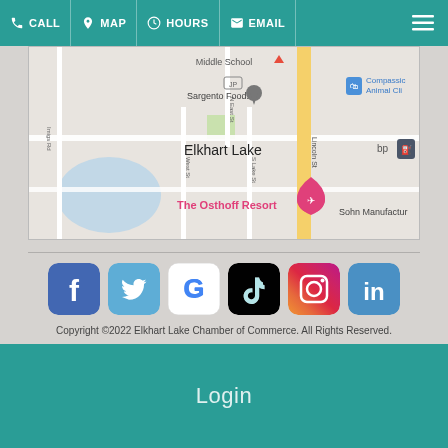CALL  MAP  HOURS  EMAIL
[Figure (map): Google Maps view of Elkhart Lake area showing Sargento Foods, The Osthoff Resort, Compassionate Animal Clinic, Lincoln St, N East St, S Lake St, West St, Imigs Rd, and a bp gas station. Map pin marker for The Osthoff Resort visible in pink/magenta.]
[Figure (infographic): Row of six social media icons: Facebook (blue), Twitter (light blue), Google (colorful G), TikTok (black with colorful notes), Instagram (gradient pink/orange), LinkedIn (blue).]
Copyright ©2022 Elkhart Lake Chamber of Commerce. All Rights Reserved.
Login